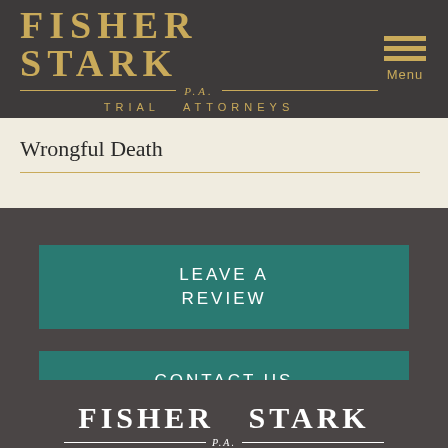[Figure (logo): Fisher Stark P.A. Trial Attorneys logo in gold on dark background, with hamburger menu icon and 'Menu' text]
Wrongful Death
LEAVE A REVIEW
CONTACT US
[Figure (logo): Fisher Stark P.A. logo in white on dark background at page footer]